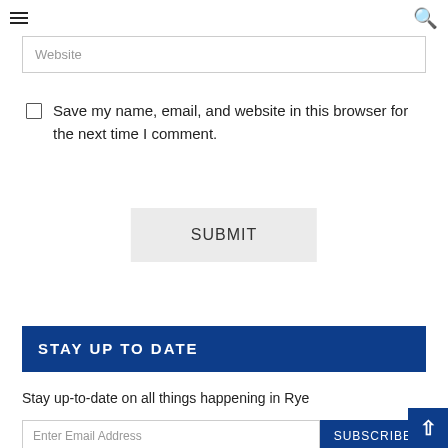Menu and Search icons
Website
Save my name, email, and website in this browser for the next time I comment.
SUBMIT
STAY UP TO DATE
Stay up-to-date on all things happening in Rye